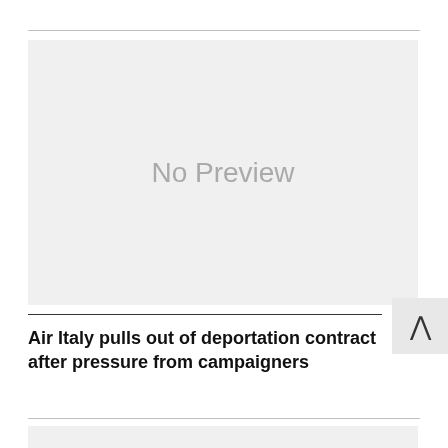[Figure (photo): No Preview placeholder image box with light gray background]
Air Italy pulls out of deportation contract after pressure from campaigners